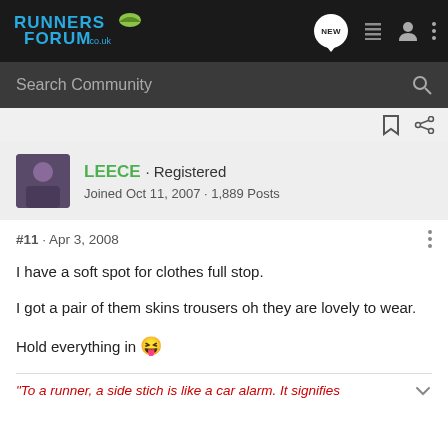Runners Forum .co.uk
Search Community
LEECE · Registered
Joined Oct 11, 2007 · 1,889 Posts
#11 · Apr 3, 2008
I have a soft spot for clothes full stop.

I got a pair of them skins trousers oh they are lovely to wear.

Hold everything in 😝
"To a runner, a side stich is like a car alarm. It signifies